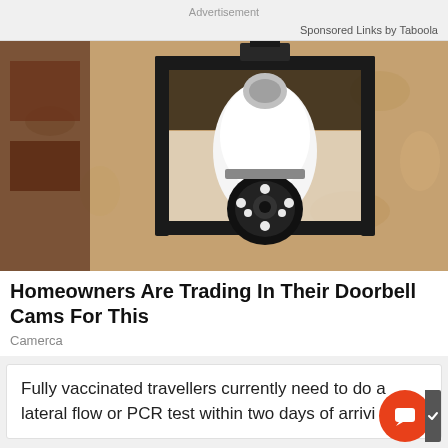Advertisement
Sponsored Links by Taboola
[Figure (photo): A black metal outdoor wall lantern fixture with a white light bulb camera device installed inside it, mounted on a textured stucco wall. The camera has visible LED ring lights at the bottom.]
Homeowners Are Trading In Their Doorbell Cams For This
Camerca
Fully vaccinated travellers currently need to do a lateral flow or PCR test within two days of arrivi